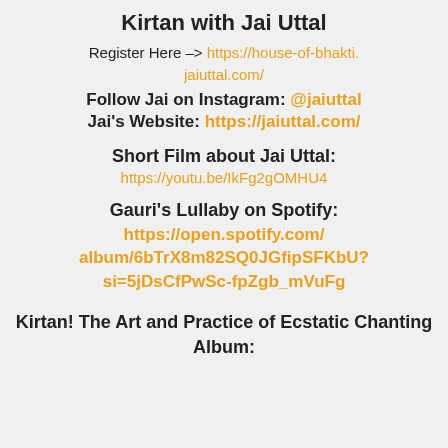Kirtan with Jai Uttal
Register Here → https://house-of-bhakti.jaiuttal.com/
Follow Jai on Instagram: @jaiuttal
Jai's Website: https://jaiuttal.com/
Short Film about Jai Uttal:
https://youtu.be/IkFg2gOMHU4
Gauri's Lullaby on Spotify:
https://open.spotify.com/album/6bTrX8m82SQ0JGfipSFKbU?si=5jDsCfPwSc-fpZgb_mVuFg
Kirtan! The Art and Practice of Ecstatic Chanting Album: